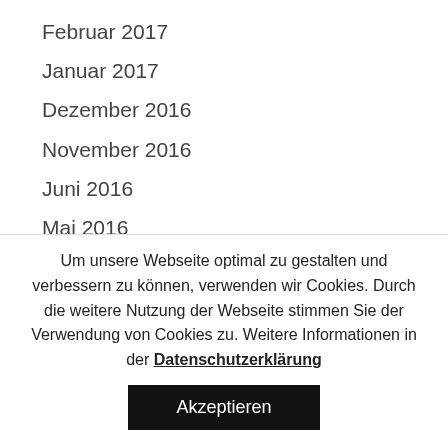Februar 2017
Januar 2017
Dezember 2016
November 2016
Juni 2016
Mai 2016
April 2016
März 2016
Februar 2016
August 2015
Um unsere Webseite optimal zu gestalten und verbessern zu können, verwenden wir Cookies. Durch die weitere Nutzung der Webseite stimmen Sie der Verwendung von Cookies zu. Weitere Informationen in der Datenschutzerklärung
Akzeptieren